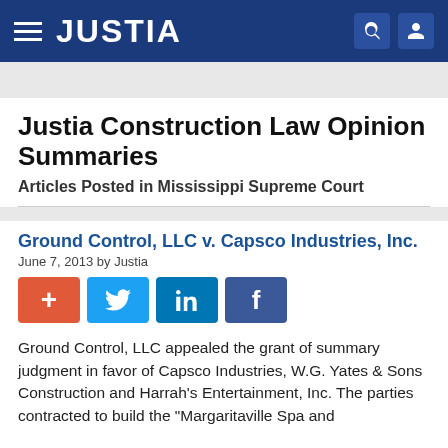JUSTIA
Justia Construction Law Opinion Summaries
Articles Posted in Mississippi Supreme Court
Ground Control, LLC v. Capsco Industries, Inc.
June 7, 2013 by Justia
[Figure (infographic): Social sharing buttons: plus (red), Twitter (blue), LinkedIn (blue), Facebook (dark blue)]
Ground Control, LLC appealed the grant of summary judgment in favor of Capsco Industries, W.G. Yates & Sons Construction and Harrah's Entertainment, Inc. The parties contracted to build the "Margaritaville Spa and